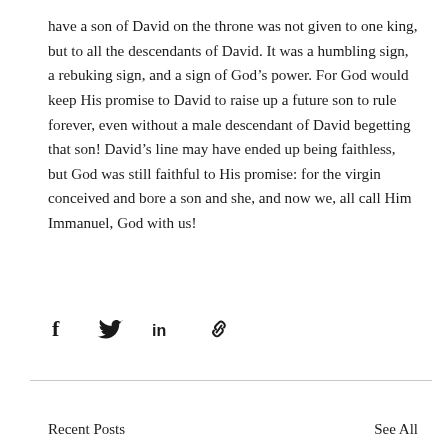have a son of David on the throne was not given to one king, but to all the descendants of David. It was a humbling sign, a rebuking sign, and a sign of God’s power. For God would keep His promise to David to raise up a future son to rule forever, even without a male descendant of David begetting that son! David’s line may have ended up being faithless, but God was still faithful to His promise: for the virgin conceived and bore a son and she, and now we, all call Him Immanuel, God with us!
[Figure (infographic): Social sharing icons: Facebook (f), Twitter (bird), LinkedIn (in), and a hyperlink/chain icon]
Recent Posts
See All